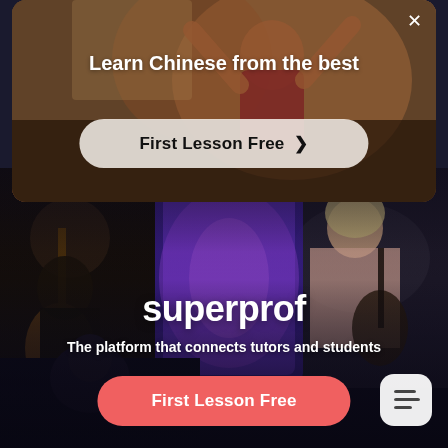[Figure (screenshot): A modal popup overlay on a website showing a person with arms raised, with text 'Learn Chinese from the best' and a 'First Lesson Free >' button with rounded corners]
Learn Chinese from the best
First Lesson Free >
[Figure (screenshot): Hero section of the Superprof website showing collage of tutors (guitarist on left, girl with guitar on right, person below) with a glowing purple tablet in center, brand name 'superprof', tagline 'The platform that connects tutors and students', a red 'First Lesson Free' CTA button, and a menu icon button on the bottom right]
superprof
The platform that connects tutors and students
First Lesson Free